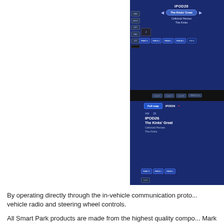[Figure (screenshot): Two car stereo/navigation unit screens showing iPod interface (IPOD26) with The Kinks' Great / Celluloid Heroes / The Kinks displayed, along with FM radio presets (FM87.9, FM93.1, FM98.1, FM100.1) and a navigation full map / IPOD26 split screen below]
By operating directly through the in-vehicle communication proto... vehicle radio and steering wheel controls.
All Smart Park products are made from the highest quality compo... Mark (TUV) approval.